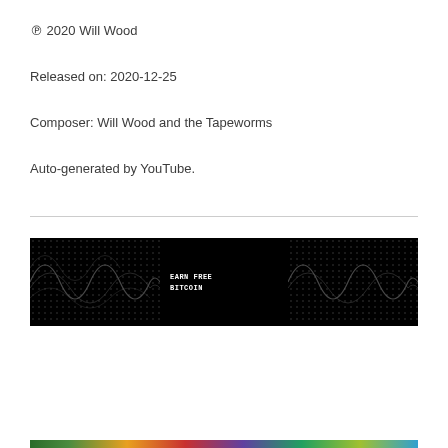℗ 2020 Will Wood
Released on: 2020-12-25
Composer: Will Wood and the Tapeworms
Auto-generated by YouTube.
[Figure (screenshot): Black banner thumbnail image with wavy dot/line patterns on left and right sides and white bold text reading 'EARN FREE BITCOIN' in the center-left area]
[Figure (photo): Partially visible colorful image at the bottom edge of the page]